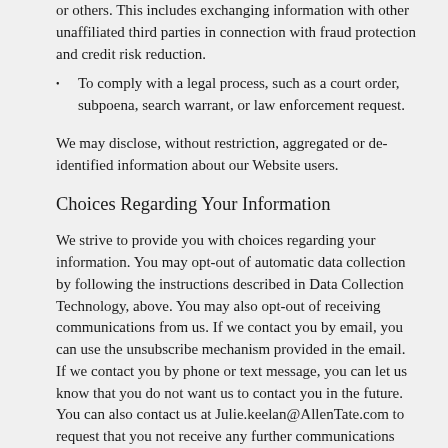or others. This includes exchanging information with other unaffiliated third parties in connection with fraud protection and credit risk reduction.
To comply with a legal process, such as a court order, subpoena, search warrant, or law enforcement request.
We may disclose, without restriction, aggregated or de-identified information about our Website users.
Choices Regarding Your Information
We strive to provide you with choices regarding your information. You may opt-out of automatic data collection by following the instructions described in Data Collection Technology, above. You may also opt-out of receiving communications from us. If we contact you by email, you can use the unsubscribe mechanism provided in the email. If we contact you by phone or text message, you can let us know that you do not want us to contact you in the future. You can also contact us at Julie.keelan@AllenTate.com to request that you not receive any further communications from us.